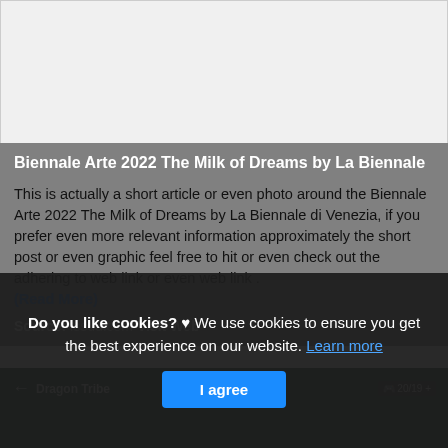[Figure (photo): White/light gray blank image area at top of page, representing a photo placeholder]
Biennale Arte 2022 The Milk of Dreams by La Biennale
This is actually a short article or even photo around the Biennale Arte 2022 The Milk of Dreams by La Biennale di Venezia, if you prefer even more relevant information approximately the short post or even graphic feel free to hit or even check out the adhering to web link or even web link . (Read More)
Source: issuu.com Visit Web
[Figure (screenshot): Dark teal/green game interface showing Dragon Tribe navigation header with back arrow, tribe name, and score counter showing 20/19 +]
Do you like cookies? ♥ We use cookies to ensure you get the best experience on our website. Learn more
I agree